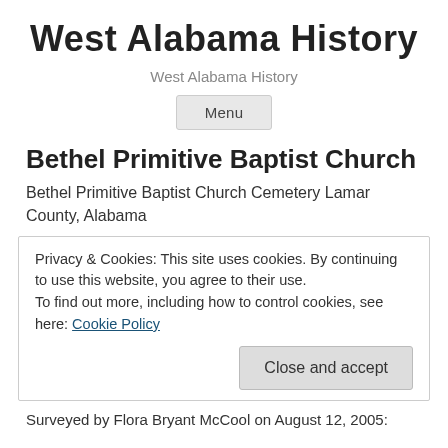West Alabama History
West Alabama History
Menu
Bethel Primitive Baptist Church
Bethel Primitive Baptist Church Cemetery Lamar County, Alabama
Privacy & Cookies: This site uses cookies. By continuing to use this website, you agree to their use.
To find out more, including how to control cookies, see here: Cookie Policy
Close and accept
Surveyed by Flora Bryant McCool on August 12, 2005: